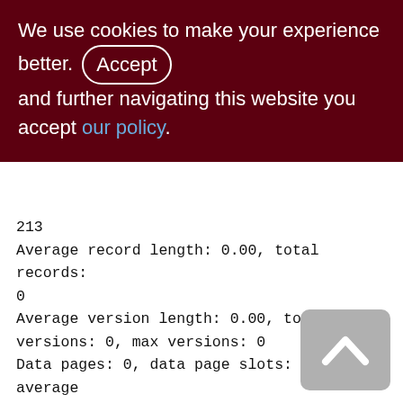We use cookies to make your experience better. By accepting and further navigating this website you accept our policy.
213
Average record length: 0.00, total records: 0
Average version length: 0.00, total versions: 0, max versions: 0
Data pages: 0, data page slots: 0, average fill: 0%
Fill distribution:
0 - 19% = 0
20 - 39% = 0
40 - 59% = 0
60 - 79% = 0
80 - 99% = 0